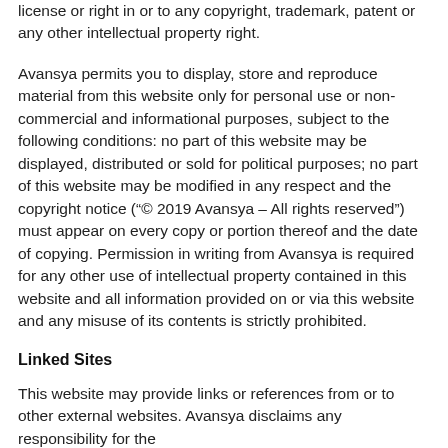license or right in or to any copyright, trademark, patent or any other intellectual property right.
Avansya permits you to display, store and reproduce material from this website only for personal use or non-commercial and informational purposes, subject to the following conditions: no part of this website may be displayed, distributed or sold for political purposes; no part of this website may be modified in any respect and the copyright notice (“© 2019 Avansya – All rights reserved”) must appear on every copy or portion thereof and the date of copying. Permission in writing from Avansya is required for any other use of intellectual property contained in this website and all information provided on or via this website and any misuse of its contents is strictly prohibited.
Linked Sites
This website may provide links or references from or to other external websites. Avansya disclaims any responsibility for the